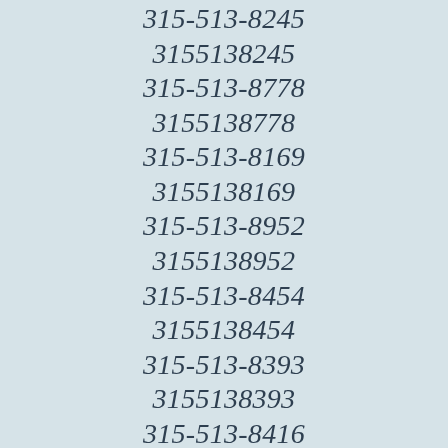315-513-8245
3155138245
315-513-8778
3155138778
315-513-8169
3155138169
315-513-8952
3155138952
315-513-8454
3155138454
315-513-8393
3155138393
315-513-8416
3155138416
315-513-8705
3155138705